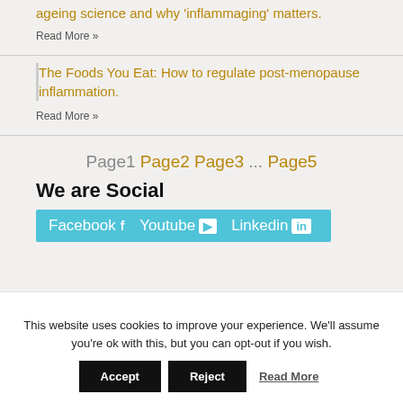ageing science and why 'inflammaging' matters.
Read More »
The Foods You Eat: How to regulate post-menopause inflammation.
Read More »
Page1 Page2 Page3 ... Page5
We are Social
Facebook  Youtube  Linkedin
This website uses cookies to improve your experience. We'll assume you're ok with this, but you can opt-out if you wish.
Accept  Reject  Read More